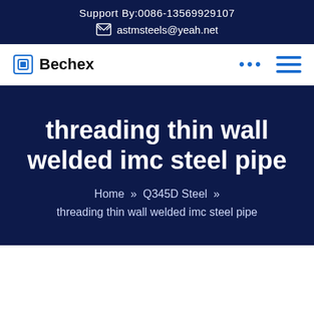Support By:0086-13569929107
astmsteels@yeah.net
[Figure (logo): Bechex company logo with square icon and navigation icons]
threading thin wall welded imc steel pipe
Home » Q345D Steel » threading thin wall welded imc steel pipe